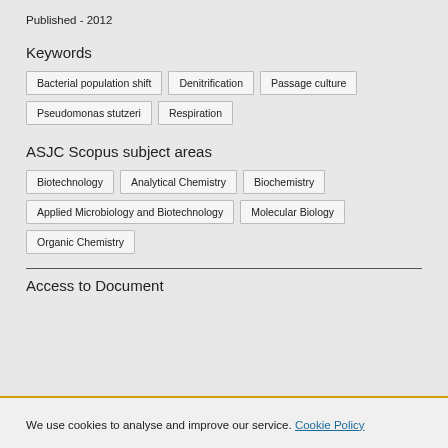Published - 2012
Keywords
Bacterial population shift
Denitrification
Passage culture
Pseudomonas stutzeri
Respiration
ASJC Scopus subject areas
Biotechnology
Analytical Chemistry
Biochemistry
Applied Microbiology and Biotechnology
Molecular Biology
Organic Chemistry
Access to Document
We use cookies to analyse and improve our service. Cookie Policy